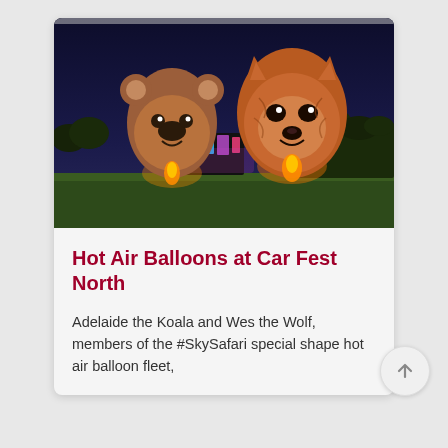[Figure (photo): Two animal-shaped hot air balloons glowing at dusk on a green field. Left balloon resembles a koala bear face (brown, with round ears and facial markings); right balloon resembles a wolf/fox face (orange-brown, with ears and detailed face markings). Both have flames illuminating them from below. In the background there is a colorful illuminated structure (pink, blue, purple lights) and trees silhouetted against a deep blue twilight sky.]
Hot Air Balloons at Car Fest North
Adelaide the Koala and Wes the Wolf, members of the #SkySafari special shape hot air balloon fleet,